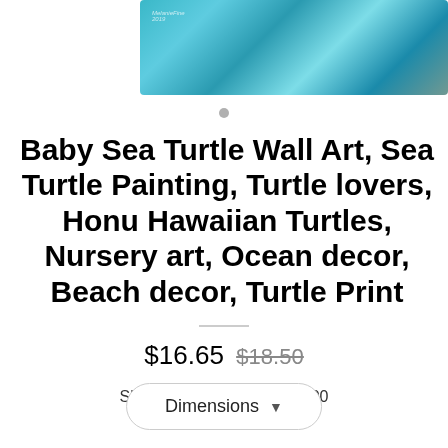[Figure (photo): Product image showing a colorful abstract sea-themed painting with teal, blue, and sandy gold tones, in a rectangular cropped view at the top of the page.]
Baby Sea Turtle Wall Art, Sea Turtle Painting, Turtle lovers, Honu Hawaiian Turtles, Nursery art, Ocean decor, Beach decor, Turtle Print
$16.65 $18.50
Shipping to : $7.00
Dimensions